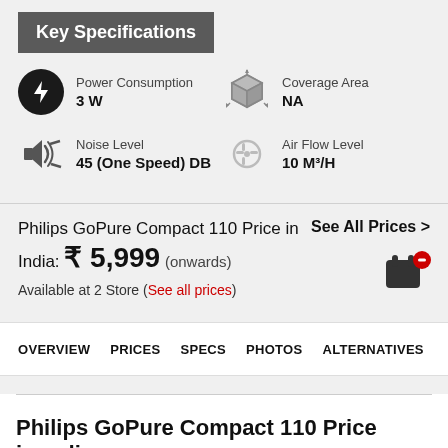Key Specifications
Power Consumption: 3 W
Coverage Area: NA
Noise Level: 45 (One Speed) DB
Air Flow Level: 10 M³/H
Philips GoPure Compact 110 Price in India: ₹ 5,999 (onwards)
See All Prices >
Available at 2 Store (See all prices)
OVERVIEW   PRICES   SPECS   PHOTOS   ALTERNATIVES
Philips GoPure Compact 110 Price in India